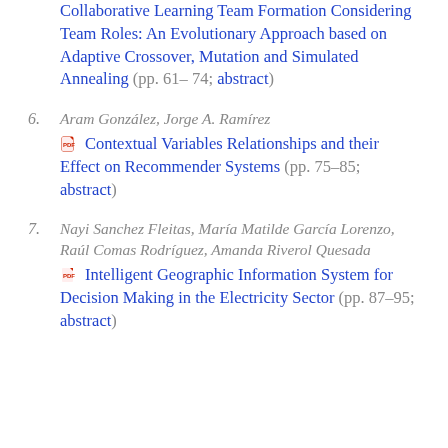Collaborative Learning Team Formation Considering Team Roles: An Evolutionary Approach based on Adaptive Crossover, Mutation and Simulated Annealing (pp. 61–74; abstract)
6. Aram González, Jorge A. Ramírez — Contextual Variables Relationships and their Effect on Recommender Systems (pp. 75–85; abstract)
7. Nayi Sanchez Fleitas, María Matilde García Lorenzo, Raúl Comas Rodríguez, Amanda Riverol Quesada — Intelligent Geographic Information System for Decision Making in the Electricity Sector (pp. 87–95; abstract)